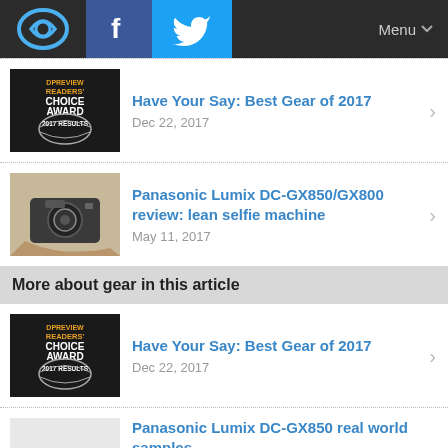dpreview logo | Facebook | Twitter | Menu
Have Your Say: Best Gear of 2017 — Dec 22, 2017
Panasonic Lumix DC-GX850/GX800 review: lean selfie machine — May 11, 2017
More about gear in this article
Have Your Say: Best Gear of 2017 — Dec 22, 2017
Panasonic Lumix DC-GX850 real world samples